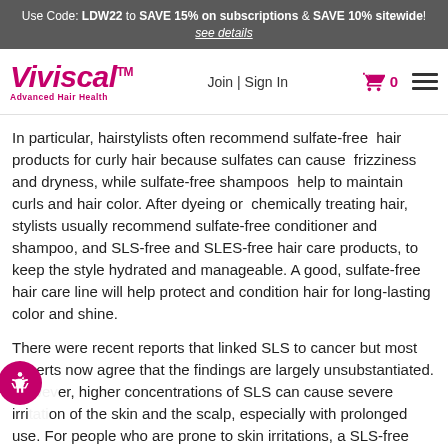Use Code: LDW22 to SAVE 15% on subscriptions & SAVE 10% sitewide! see details
[Figure (logo): Viviscal Advanced Hair Health logo with navigation: Join | Sign In, cart icon with 0, and hamburger menu]
In particular, hairstylists often recommend sulfate-free hair products for curly hair because sulfates can cause frizziness and dryness, while sulfate-free shampoos help to maintain curls and hair color. After dyeing or chemically treating hair, stylists usually recommend sulfate-free conditioner and shampoo, and SLS-free and SLES-free hair care products, to keep the style hydrated and manageable. A good, sulfate-free hair care line will help protect and condition hair for long-lasting color and shine.
There were recent reports that linked SLS to cancer but most experts now agree that the findings are largely unsubstantiated. However, higher concentrations of SLS can cause severe irritation of the skin and the scalp, especially with prolonged use. For people who are prone to skin irritations, a SLS-free shampoo may also help reduce the effects of allergies, eczema